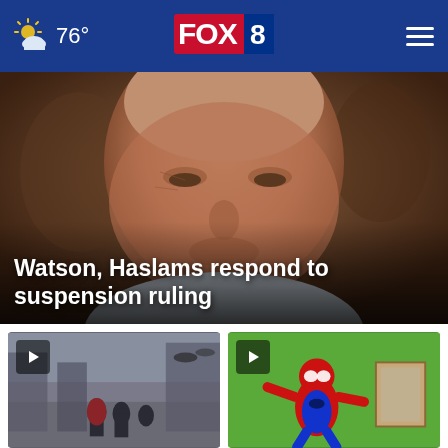76° FOX 8
[Figure (photo): Close-up photo of an older man's face, slightly out of focus background, with headline overlay: Watson, Haslams respond to suspension ruling]
Watson, Haslams respond to suspension ruling
[Figure (photo): Video thumbnail: group of people on a street scene, with a play button overlay]
[Figure (photo): Video thumbnail: person in a Spider-Man costume in front of a green background, with a play button overlay]